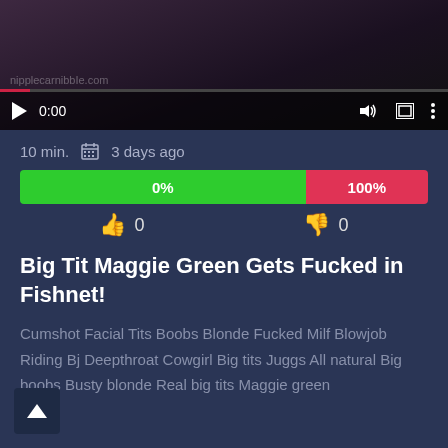[Figure (screenshot): Video player thumbnail showing a dark scene with playback controls, timestamp 0:00, volume and settings icons, and a progress bar at the bottom]
10 min.   3 days ago
[Figure (bar-chart): Like/Dislike Rating Bar]
0   0
Big Tit Maggie Green Gets Fucked in Fishnet!
Cumshot Facial Tits Boobs Blonde Fucked Milf Blowjob Riding Bj Deepthroat Cowgirl Big tits Juggs All natural Big boobs Busty blonde Real big tits Maggie green